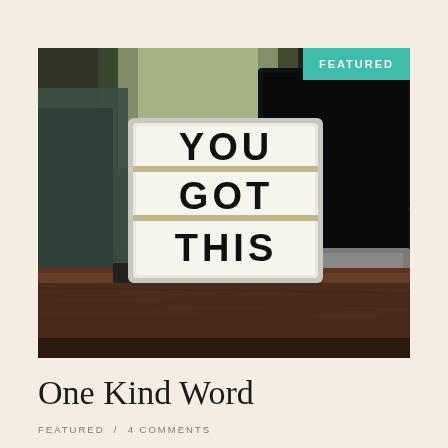[Figure (photo): A light-up letter board on a desk displaying 'YOU GOT THIS' in bold black letters, next to an open laptop with a dark screen. Blurred green plants visible in the background. Warm, dimly lit scene on a wooden desk. A teal 'FEATURED' badge overlays the top-right corner of the image.]
One Kind Word
FEATURED / 4 COMMENTS